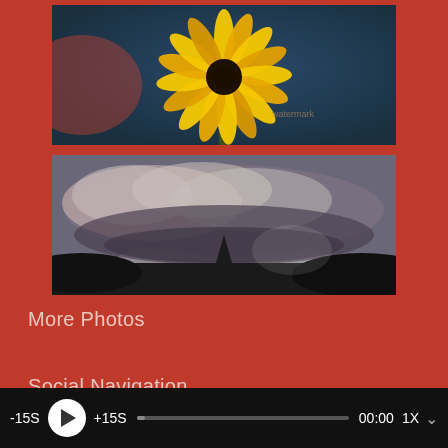[Figure (photo): Close-up photograph of a yellow daisy/sunflower from below against a dark blue-green bokeh background]
[Figure (photo): Dramatic storm clouds over a dark silhouetted landscape with a single tree, stormy sky with lightning]
More Photos
Social Navigation
-15S +15S 00:00 1X